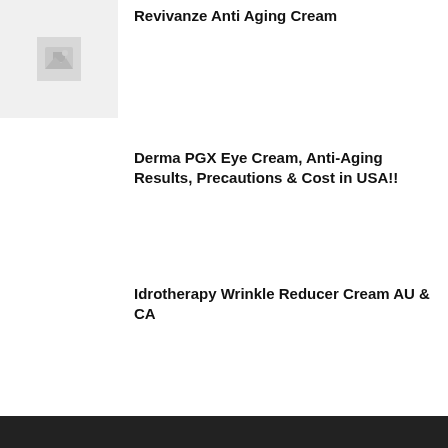[Figure (other): Thumbnail placeholder image with grey icon]
Revivanze Anti Aging Cream
Derma PGX Eye Cream, Anti-Aging Results, Precautions & Cost in USA!!
Idrotherapy Wrinkle Reducer Cream AU & CA